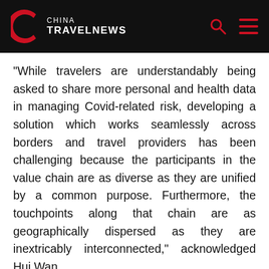CHINA TRAVELNEWS
“While travelers are understandably being asked to share more personal and health data in managing Covid-related risk, developing a solution which works seamlessly across borders and travel providers has been challenging because the participants in the value chain are as diverse as they are unified by a common purpose. Furthermore, the touchpoints along that chain are as geographically dispersed as they are inextricably interconnected,” acknowledged Hui Wan.
Another concern is related to managing of COVID-19 vaccine passports. “Naturally, emphasizing data privacy and security will be